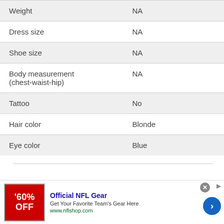| Attribute | Value |
| --- | --- |
| Weight | NA |
| Dress size | NA |
| Shoe size | NA |
| Body measurement (chest-waist-hip) | NA |
| Tattoo | No |
| Hair color | Blonde |
| Eye color | Blue |
Sarah Habaugh
[Figure (infographic): Advertisement banner for NFL Shop: '60% OFF' with text 'Official NFL Gear - Get Your Favorite Team's Gear Here - www.nflshop.com']